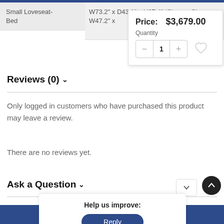Small Loveseat-Bed
W73.2" x D43.1" x H27.4" (Sleeper Size W47.2" x
Price: $3,679.00
Quantity
Reviews (0)
Only logged in customers who have purchased this product may leave a review.
There are no reviews yet.
Ask a Question
Help us improve:
Reply